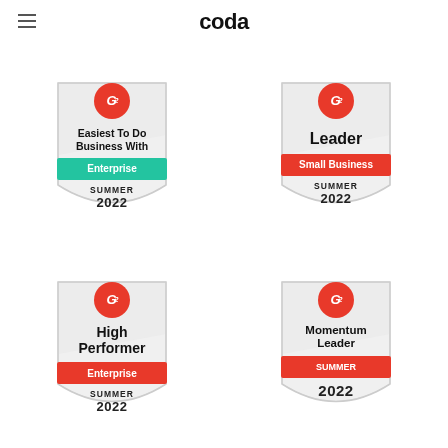coda
[Figure (logo): G2 badge: Easiest To Do Business With, Enterprise, Summer 2022]
[Figure (logo): G2 badge: Leader, Small Business, Summer 2022]
[Figure (logo): G2 badge: High Performer, Enterprise, Summer 2022]
[Figure (logo): G2 badge: Momentum Leader, Summer 2022]